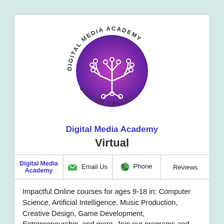[Figure (logo): Digital Media Academy Silicon Valley circular logo with purple gradient background and white tree/circuit-board design]
Digital Media Academy
Virtual
| Digital Media Academy | Email Us | Phone | Reviews |
| --- | --- | --- | --- |
Impactful Online courses for ages 9-18 in: Computer Science, Artificial Intelligence, Music Production, Creative Design, Game Development, Entrepreneurship, and more. Join our programs and learn skills valuable for life. -Virtual Camps - Virtual ... Read more